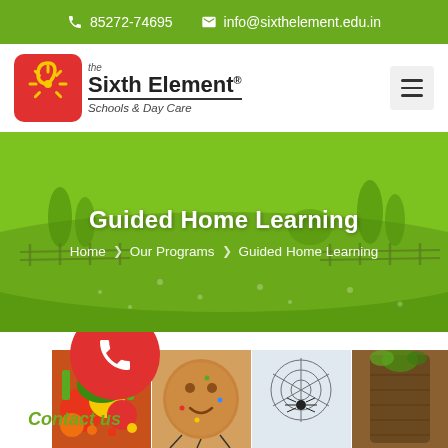📞 85272-74695  ✉ info@sixthelement.edu.in
[Figure (logo): The Sixth Element Schools & Day Care logo — red square with yellow sun/spiral, text 'the Sixth Element® Schools & Day Care']
Guided Home Learning
Home > Our Programs > Guided Home Learning
[Figure (photo): Craft activity photos showing colorful autumn/Halloween themed kids crafts — flowers, cookies, spider web, tree bark]